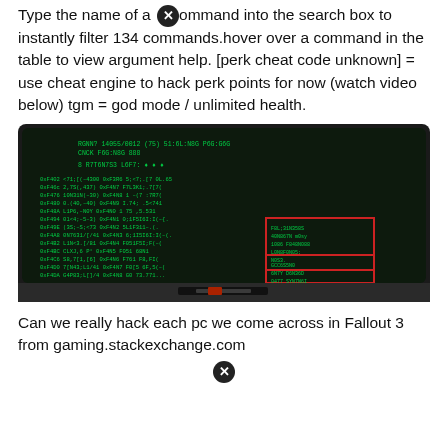Type the name of a command into the search box to instantly filter 134 commands.hover over a command in the table to view argument help. [perk cheat code unknown] = use cheat engine to hack perk points for now (watch video below) tgm = god mode / unlimited health.
[Figure (screenshot): Screenshot of a Fallout 3 terminal hacking minigame showing green text on a dark screen with red-bordered UI boxes.]
Can we really hack each pc we come across in Fallout 3 from gaming.stackexchange.com